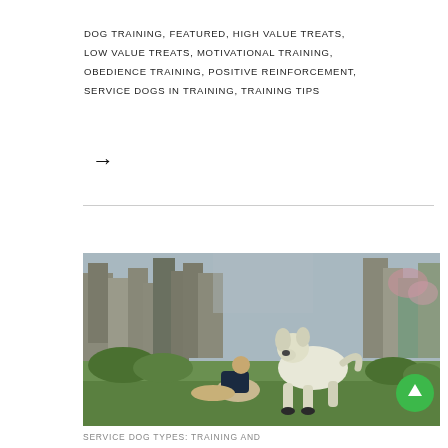DOG TRAINING, FEATURED, HIGH VALUE TREATS, LOW VALUE TREATS, MOTIVATIONAL TRAINING, OBEDIENCE TRAINING, POSITIVE REINFORCEMENT, SERVICE DOGS IN TRAINING, TRAINING TIPS
→
[Figure (photo): A person sitting on grass in a garden looking up at a large white dog standing over them, surrounded by trees and greenery.]
SERVICE DOG TYPES: TRAINING AND